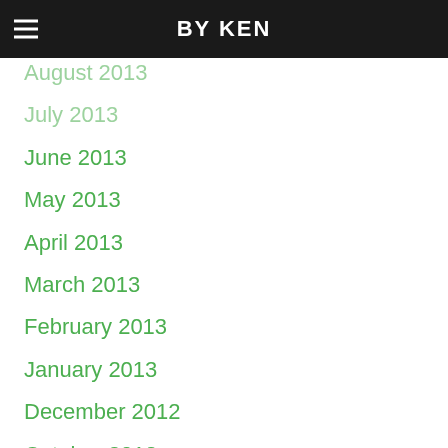BY KEN
August 2013
July 2013
June 2013
May 2013
April 2013
March 2013
February 2013
January 2013
December 2012
October 2012
September 2012
August 2012
July 2012
April 2012
March 2012
February 2012
January 2012
December 2011